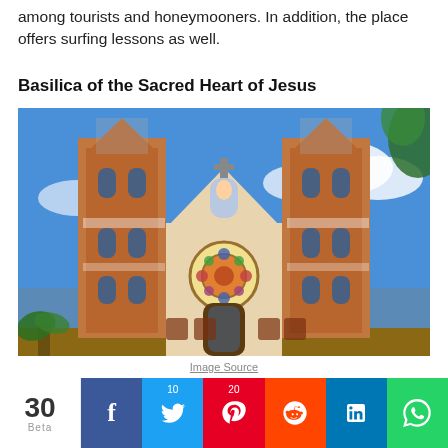among tourists and honeymooners. In addition, the place offers surfing lessons as well.
Basilica of the Sacred Heart of Jesus
[Figure (photo): Photograph of the Basilica of the Sacred Heart of Jesus showing two Gothic brick towers with ornate decorations, a rose window, and a blue sky with clouds in the background.]
Image Source
30 Beta | Facebook | Twitter 10 | Pinterest 20 | Reddit | LinkedIn | WhatsApp